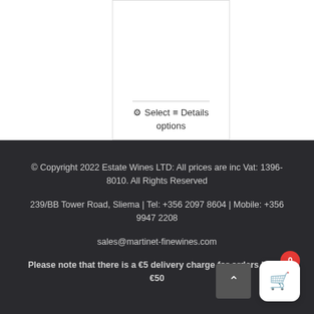[Figure (screenshot): Partial product card with a horizontal divider line and a 'Select options / Details' button using gear and list icons]
© Copyright 2022 Estate Wines LTD: All prices are inc Vat: 1396-8010. All Rights Reserved

239/BB Tower Road, Sliema | Tel: +356 2097 8604 | Mobile: +356 9947 2208

sales@martinet-finewines.com

Please note that there is a €5 delivery charge for orders below €50